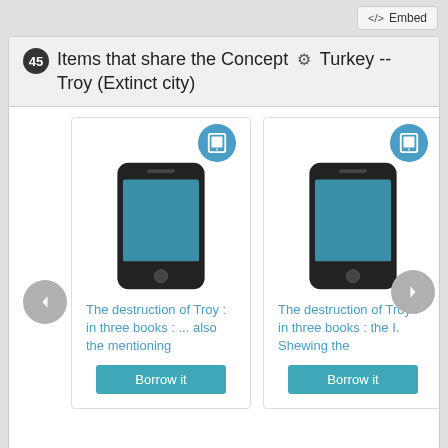[Figure (screenshot): Embed button with code icon at top right]
45 Items that share the Concept ⚙ Turkey -- Troy (Extinct city)
[Figure (screenshot): Carousel of book items with phone/tablet icons. Two visible cards: 'The destruction of Troy : in three books : ... also the mentioning' and 'The destruction of Troy : in three books : the I. Shewing the', each with a Borrow it button. Left and right navigation arrows visible.]
[Figure (screenshot): Embed button with code icon at bottom right]